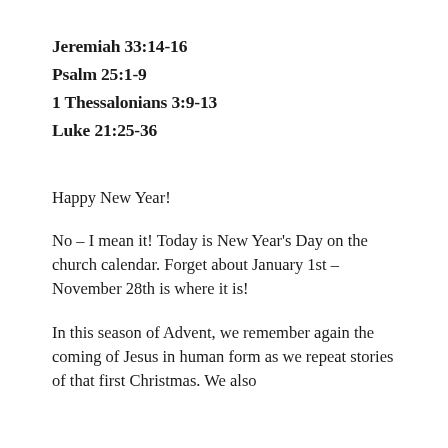Jeremiah 33:14-16
Psalm 25:1-9
1 Thessalonians 3:9-13
Luke 21:25-36
Happy New Year!
No – I mean it! Today is New Year's Day on the church calendar. Forget about January 1st – November 28th is where it is!
In this season of Advent, we remember again the coming of Jesus in human form as we repeat stories of that first Christmas. We also